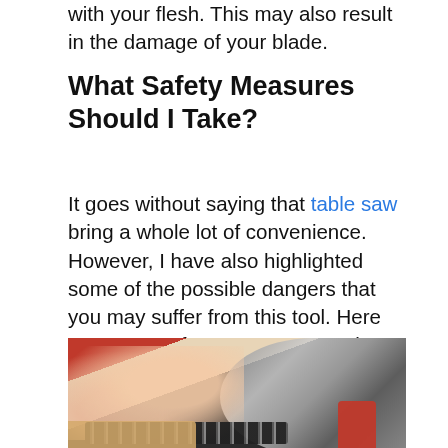with your flesh. This may also result in the damage of your blade.
What Safety Measures Should I Take?
It goes without saying that table saw bring a whole lot of convenience. However, I have also highlighted some of the possible dangers that you may suffer from this tool. Here are some safety measures to take:
[Figure (photo): A person's hands adjusting or placing a saw blade on a table saw, with a circular blade visible on the right and a red safety guard, on a workbench surface.]